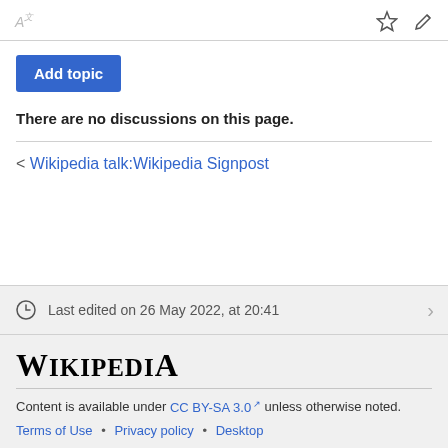ᴬ  ☆  ✎
Add topic
There are no discussions on this page.
< Wikipedia talk:Wikipedia Signpost
Last edited on 26 May 2022, at 20:41
Wikipedia
Content is available under CC BY-SA 3.0 unless otherwise noted.
Terms of Use • Privacy policy • Desktop